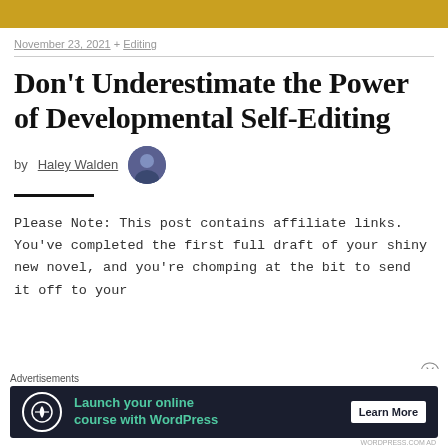[Figure (other): Gold/amber decorative header bar]
November 23, 2021 + Editing
Don't Underestimate the Power of Developmental Self-Editing
by Haley Walden
Please Note: This post contains affiliate links. You've completed the first full draft of your shiny new novel, and you're chomping at the bit to send it off to your
Advertisements
[Figure (infographic): Advertisement banner: Launch your online course with WordPress — Learn More button]